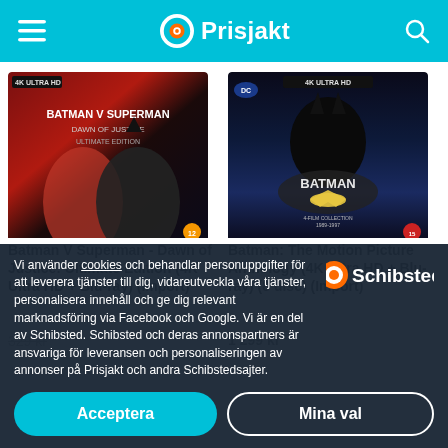Prisjakt
[Figure (photo): Batman V Superman - Dawn of Justice: Ultimate Edition 4K Ultra HD Blu-ray cover showing split face of Superman and Batman in red and dark tones]
Batman V Superman - Dawn of Justice: Ultimate Edition (4K Ultra HD + Blu-ray) (Import)
[Figure (photo): Batman: The Motion Picture Anthology 4K Ultra HD + Blu-ray 8 disc set cover showing Batman silhouette with bat logo against dark blue background]
Batman: The Motion Picture Anthology (4K Ultra HD + Blu-ray) (8 disc) (Import)
1 299 kr
Vi använder cookies och behandlar personuppgifter för att leverera tjänster till dig, vidareutveckla våra tjänster, personalisera innehåll och ge dig relevant marknadsföring via Facebook och Google. Vi är en del av Schibsted. Schibsted och deras annonspartners är ansvariga för leveransen och personaliseringen av annonser på Prisjakt och andra Schibstedsajter.
Schibsted
Acceptera
Mina val